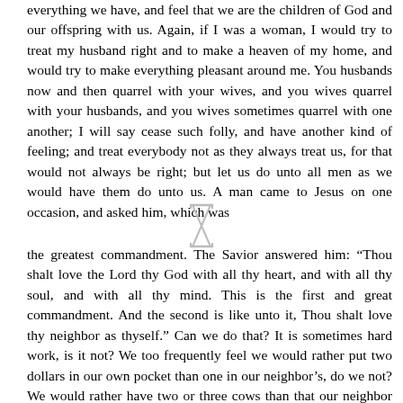everything we have, and feel that we are the children of God and our offspring with us. Again, if I was a woman, I would try to treat my husband right and to make a heaven of my home, and would try to make everything pleasant around me. You husbands now and then quarrel with your wives, and you wives quarrel with your husbands, and you wives sometimes quarrel with one another; I will say cease such folly, and have another kind of feeling; and treat everybody not as they always treat us, for that would not always be right; but let us do unto all men as we would have them do unto us. A man came to Jesus on one occasion, and asked him, which was
[Figure (other): Decorative hourglass or column divider symbol]
the greatest commandment. The Savior answered him: “Thou shalt love the Lord thy God with all thy heart, and with all thy soul, and with all thy mind. This is the first and great commandment. And the second is like unto it, Thou shalt love thy neighbor as thyself.” Can we do that? It is sometimes hard work, is it not? We too frequently feel we would rather put two dollars in our own pocket than one in our neighbor’s, do we not? We would rather have two or three cows than that our neighbor should have one? Is not this the kind of feeling? “Thou